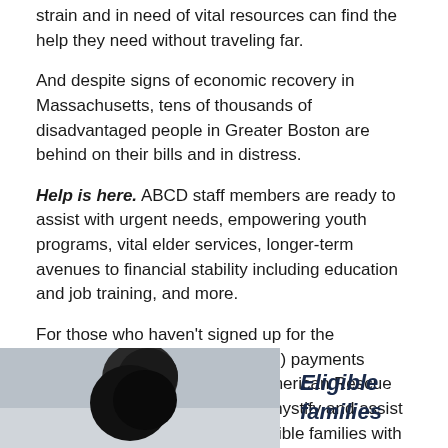strain and in need of vital resources can find the help they need without traveling far.
And despite signs of economic recovery in Massachusetts, tens of thousands of disadvantaged people in Greater Boston are behind on their bills and in distress.
Help is here. ABCD staff members are ready to assist with urgent needs, empowering youth programs, vital elder services, longer-term avenues to financial stability including education and job training, and more.
For those who haven't signed up for the expanded Child Tax Credit (CTC) payments included in President Biden's American Rescue Plan, ABCD employees can demystify and assist with the process. It provides eligible families with $3,600 annually per child under age 6 and $3,000 per child ages 6-17 years old.
[Figure (photo): Partial photo of a person with dark hair, cropped, appearing at the bottom left of the page]
Eligible families